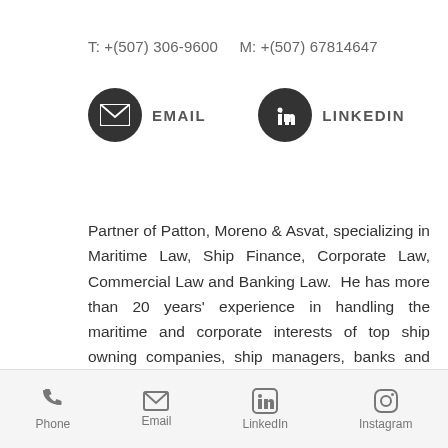T: +(507) 306-9600    M: +(507) 67814647
[Figure (infographic): Email icon (dark circle with envelope) and LinkedIn icon (dark circle with 'in' logo), each followed by label EMAIL and LINKEDIN]
Partner of Patton, Moreno & Asvat, specializing in Maritime Law, Ship Finance, Corporate Law, Commercial Law and Banking Law.  He has more than 20 years' experience in handling the maritime and corporate interests of top ship owning companies, ship managers, banks and financial institutions from several different jurisdictions of Europe, United States, Middle East, Asia and Latin America.  Providing assistance to clients
Phone   Email   LinkedIn   Instagram